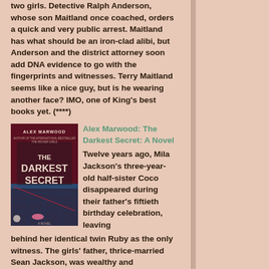two girls. Detective Ralph Anderson, whose son Maitland once coached, orders a quick and very public arrest. Maitland has what should be an iron-clad alibi, but Anderson and the district attorney soon add DNA evidence to go with the fingerprints and witnesses. Terry Maitland seems like a nice guy, but is he wearing another face? IMO, one of King's best books yet. (****)
[Figure (photo): Book cover of 'The Darkest Secret' by Alex Marwood, showing a dark pool scene at night with a red/dark background]
Alex Marwood: The Darkest Secret: A Novel
Twelve years ago, Mila Jackson's three-year-old half-sister Coco disappeared during their father's fiftieth birthday celebration, leaving behind her identical twin Ruby as the only witness. The girls' father, thrice-married Sean Jackson, was wealthy and influential, as were the friends gathered at their seaside vacation home for the